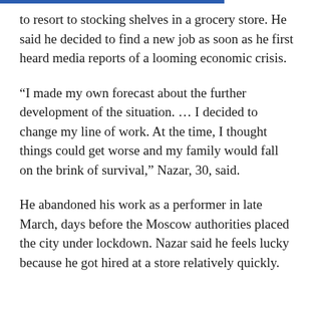to resort to stocking shelves in a grocery store. He said he decided to find a new job as soon as he first heard media reports of a looming economic crisis.
“I made my own forecast about the further development of the situation. … I decided to change my line of work. At the time, I thought things could get worse and my family would fall on the brink of survival,” Nazar, 30, said.
He abandoned his work as a performer in late March, days before the Moscow authorities placed the city under lockdown. Nazar said he feels lucky because he got hired at a store relatively quickly.